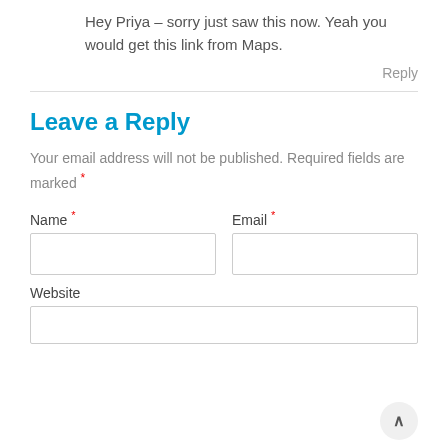Hey Priya – sorry just saw this now. Yeah you would get this link from Maps.
Reply
Leave a Reply
Your email address will not be published. Required fields are marked *
Name *
Email *
Website